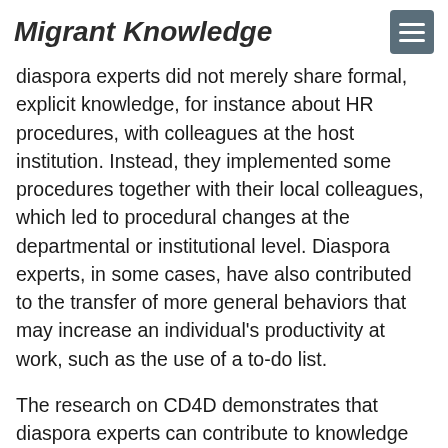Migrant Knowledge
diaspora experts did not merely share formal, explicit knowledge, for instance about HR procedures, with colleagues at the host institution. Instead, they implemented some procedures together with their local colleagues, which led to procedural changes at the departmental or institutional level. Diaspora experts, in some cases, have also contributed to the transfer of more general behaviors that may increase an individual's productivity at work, such as the use of a to-do list.
The research on CD4D demonstrates that diaspora experts can contribute to knowledge transfer and capacity building in their country of